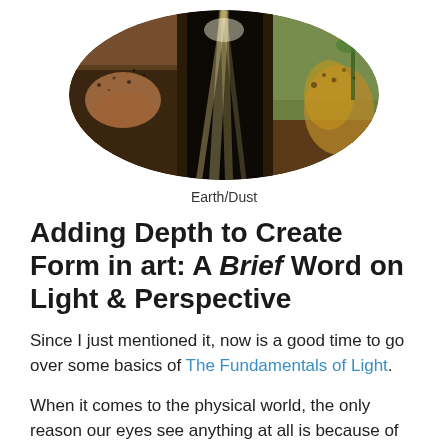[Figure (photo): Three circular-cropped photos side by side showing earth and dust: a hand dropping soil/dirt particles, light rays through a doorway, and soil/dust being tossed in the air near a plant.]
Earth/Dust
Adding Depth to Create Form in art: A Brief Word on Light & Perspective
Since I just mentioned it, now is a good time to go over some basics of The Fundamentals of Light.
When it comes to the physical world, the only reason our eyes see anything at all is because of light. Until we add the elements